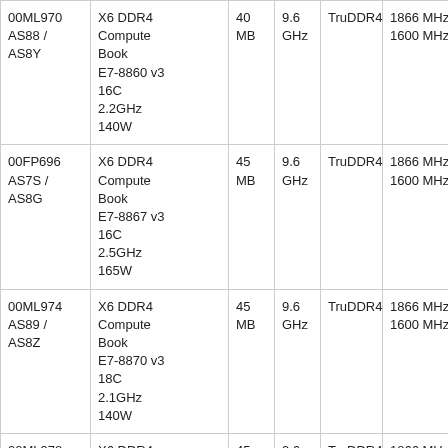| 00ML970 AS88 / AS8Y | X6 DDR4 Compute Book E7-8860 v3 16C 2.2GHz 140W | 40 MB | 9.6 GHz | TruDDR4 | 1866 MHz / 1600 MHz | Y |
| 00FP696 AS7S / AS8G | X6 DDR4 Compute Book E7-8867 v3 16C 2.5GHz 165W | 45 MB | 9.6 GHz | TruDDR4 | 1866 MHz / 1600 MHz | Y |
| 00ML974 AS89 / AS8Z | X6 DDR4 Compute Book E7-8870 v3 18C 2.1GHz 140W | 45 MB | 9.6 GHz | TruDDR4 | 1866 MHz / 1600 MHz | Y |
| 00ML978 AS8A / … | X6 DDR4 Compute … | 45 MB | 9.6 GHz | TruDDR4 | 1866 MHz / 1866 MHz | Y |